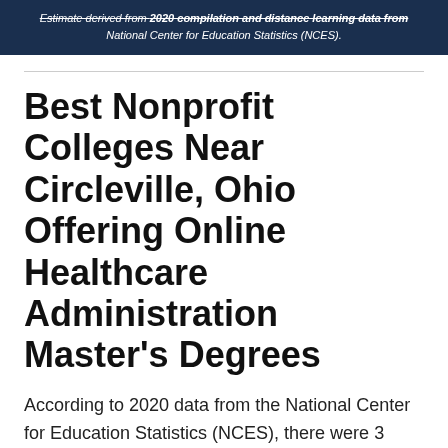Estimate derived from 2020 compilation and distance learning data from National Center for Education Statistics (NCES).
Best Nonprofit Colleges Near Circleville, Ohio Offering Online Healthcare Administration Master's Degrees
According to 2020 data from the National Center for Education Statistics (NCES), there were 3 nonprofit schools near Circleville, Ohio where students completed 136 online healthcare administration master's degree programs. Of those schools, 2 were